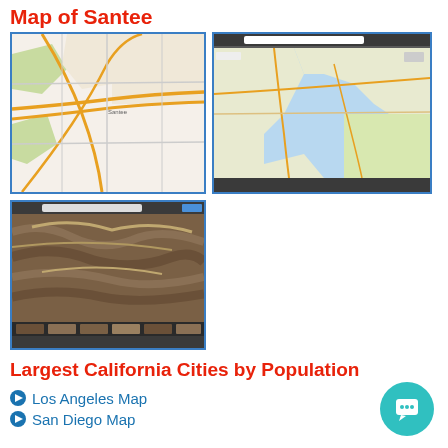Map of Santee
[Figure (map): Street map of Santee area showing roads and terrain]
[Figure (screenshot): Screenshot of a wider map view of the San Diego/Santee region]
[Figure (screenshot): Satellite imagery screenshot of mountainous terrain near Santee with photo strip at bottom]
Largest California Cities by Population
Los Angeles Map
San Diego Map